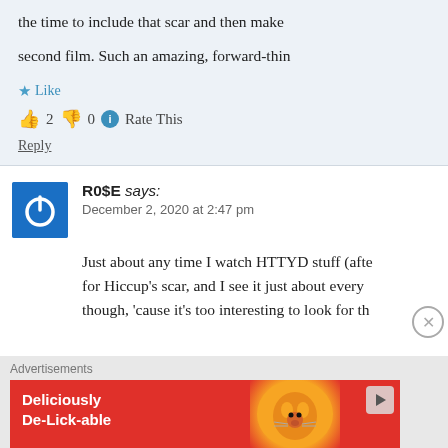the time to include that scar and then make second film. Such an amazing, forward-thin
👍 2 👎 0 ℹ Rate This
Reply
R0$E says: December 2, 2020 at 2:47 pm
Just about any time I watch HTTYD stuff (afte for Hiccup's scar, and I see it just about every though, 'cause it's too interesting to look for th
Advertisements